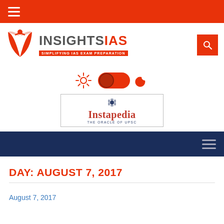INSIGHTSIAS — SIMPLIFYING IAS EXAM PREPARATION
[Figure (logo): InsightsIAS logo with open book and tagline 'SIMPLIFYING IAS EXAM PREPARATION']
[Figure (infographic): Day/night mode toggle switch with sun and moon icons]
[Figure (logo): Instapedia — The Oracle of UPSC logo banner]
Navigation menu bar (dark blue)
DAY: AUGUST 7, 2017
August 7, 2017